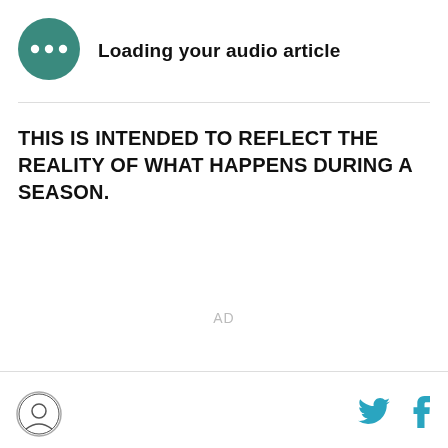[Figure (infographic): Teal circular audio player icon with three white dots, indicating a loading audio article player widget]
Loading your audio article
THIS IS INTENDED TO REFLECT THE REALITY OF WHAT HAPPENS DURING A SEASON.
AD
[Figure (logo): Circular site logo with person icon at bottom left]
[Figure (logo): Twitter bird icon in teal/blue]
[Figure (logo): Facebook f icon in teal/blue]